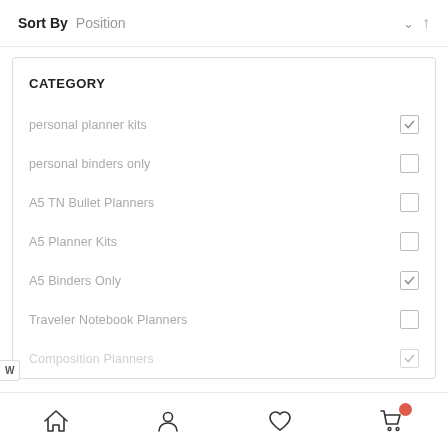Sort By  Position
CATEGORY
personal planner kits — checked
personal binders only — unchecked
A5 TN Bullet Planners — unchecked
A5 Planner Kits — unchecked
A5 Binders Only — checked
Traveler Notebook Planners — unchecked
Composition Planners — checked (partial)
Home | Account | Wishlist | Cart